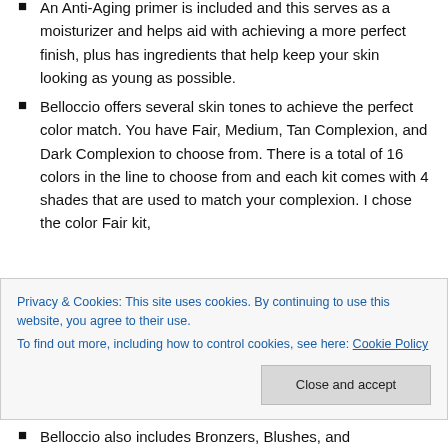An Anti-Aging primer is included and this serves as a moisturizer and helps aid with achieving a more perfect finish, plus has ingredients that help keep your skin looking as young as possible.
Belloccio offers several skin tones to achieve the perfect color match. You have Fair, Medium, Tan Complexion, and Dark Complexion to choose from. There is a total of 16 colors in the line to choose from and each kit comes with 4 shades that are used to match your complexion. I chose the color Fair kit,
Privacy & Cookies: This site uses cookies. By continuing to use this website, you agree to their use.
To find out more, including how to control cookies, see here: Cookie Policy
Belloccio also includes Bronzers, Blushes, and